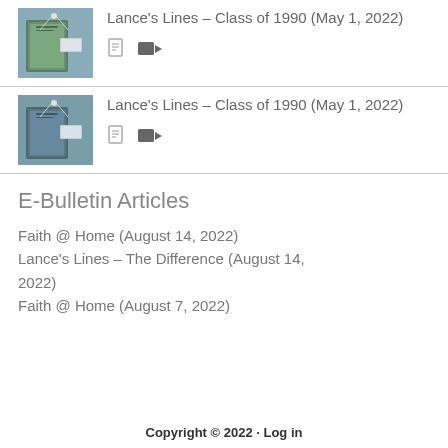[Figure (photo): Thumbnail image of book with earphones on a table - top item]
Lance's Lines – Class of 1990 (May 1, 2022)
[Figure (photo): Thumbnail image of book with earphones on a table - second item]
Lance's Lines – Class of 1990 (May 1, 2022)
E-Bulletin Articles
Faith @ Home (August 14, 2022)
Lance's Lines – The Difference (August 14, 2022)
Faith @ Home (August 7, 2022)
Copyright © 2022 · Log in